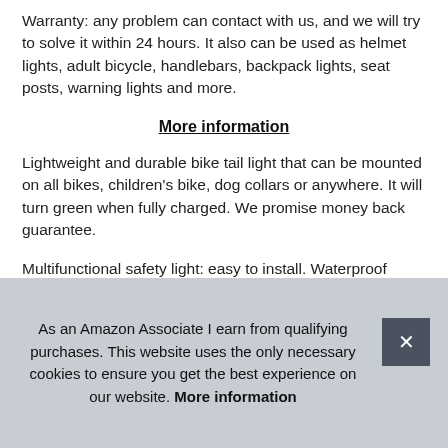Warranty: any problem can contact with us, and we will try to solve it within 24 hours. It also can be used as helmet lights, adult bicycle, handlebars, backpack lights, seat posts, warning lights and more.
More information
Lightweight and durable bike tail light that can be mounted on all bikes, children's bike, dog collars or anywhere. It will turn green when fully charged. We promise money back guarantee.
Multifunctional safety light: easy to install. Waterproof bicycle tail light: The taillight is made of IPX5 rated water resistant material to ensure a safe use in heavy rain. You can switch diffe[rent] occ[asional] requ[irements] cab[le]
As an Amazon Associate I earn from qualifying purchases. This website uses the only necessary cookies to ensure you get the best experience on our website. More information